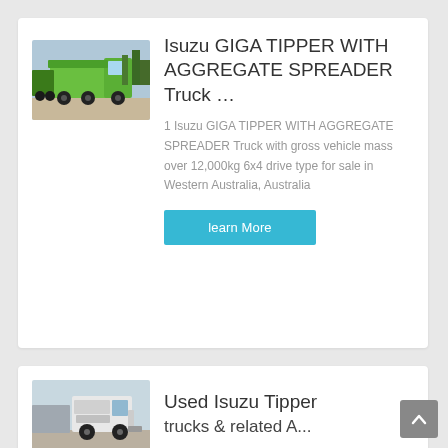[Figure (photo): Green Isuzu tipper truck with aggregate spreader, parked outdoors]
Isuzu GIGA TIPPER WITH AGGREGATE SPREADER Truck …
1 Isuzu GIGA TIPPER WITH AGGREGATE SPREADER Truck with gross vehicle mass over 12,000kg 6x4 drive type for sale in Western Australia, Australia
learn More
[Figure (photo): White Isuzu tipper truck partial view]
Used Isuzu Tipper ...